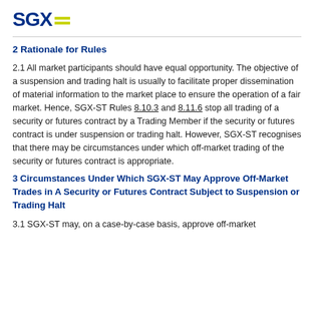SGX
2 Rationale for Rules
2.1 All market participants should have equal opportunity. The objective of a suspension and trading halt is usually to facilitate proper dissemination of material information to the market place to ensure the operation of a fair market. Hence, SGX-ST Rules 8.10.3 and 8.11.6 stop all trading of a security or futures contract by a Trading Member if the security or futures contract is under suspension or trading halt. However, SGX-ST recognises that there may be circumstances under which off-market trading of the security or futures contract is appropriate.
3 Circumstances Under Which SGX-ST May Approve Off-Market Trades in A Security or Futures Contract Subject to Suspension or Trading Halt
3.1 SGX-ST may, on a case-by-case basis, approve off-market